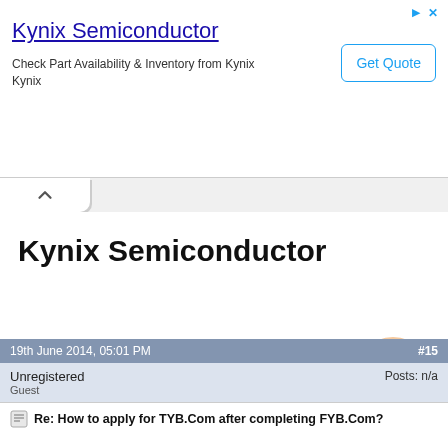[Figure (screenshot): Advertisement banner for Kynix Semiconductor with title, description, and Get Quote button]
Kynix Semiconductor
Check Part Availability & Inventory from Kynix
19th June 2014, 05:01 PM  #15
Unregistered
Guest
Posts: n/a
Re: How to apply for TYB.Com after completing FYB.Com?